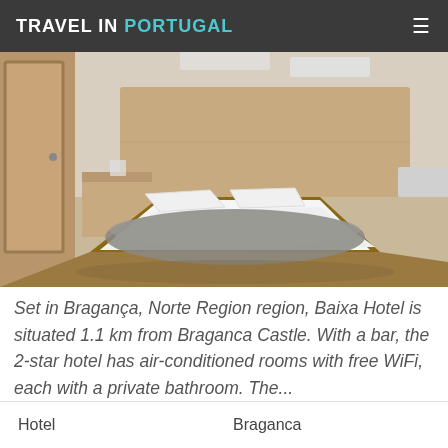TRAVEL IN PORTUGAL
[Figure (photo): Interior of a hotel room showing two beds with white linens and a grey blanket/throw draped across, wooden headboard, nightstand, wooden flooring, and a door visible in the background.]
Set in Bragança, Norte Region region, Baixa Hotel is situated 1.1 km from Braganca Castle. With a bar, the 2-star hotel has air-conditioned rooms with free WiFi, each with a private bathroom. The...
Hotel    Braganca